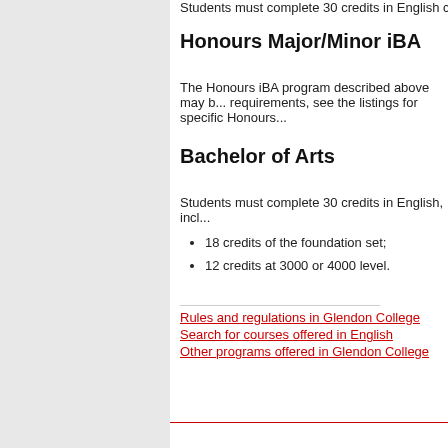Students must complete 30 credits in English cho...
Honours Major/Minor iBA
The Honours iBA program described above may b... requirements, see the listings for specific Honours...
Bachelor of Arts
Students must complete 30 credits in English, incl...
18 credits of the foundation set;
12 credits at 3000 or 4000 level.
Rules and regulations in Glendon College
Search for courses offered in English
Other programs offered in Glendon College
[Figure (logo): York University crest/shield logo in grey]
Last modified:
Privacy and Legal